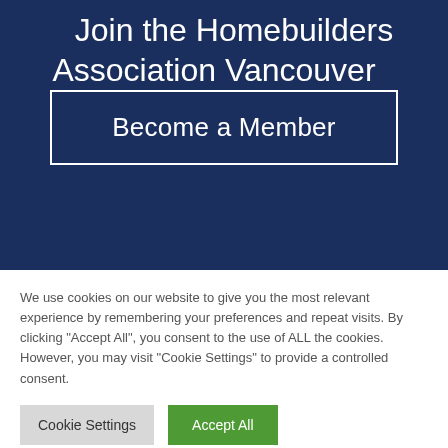Join the Homebuilders Association Vancouver
Become a Member
We use cookies on our website to give you the most relevant experience by remembering your preferences and repeat visits. By clicking "Accept All", you consent to the use of ALL the cookies. However, you may visit "Cookie Settings" to provide a controlled consent.
Cookie Settings
Accept All